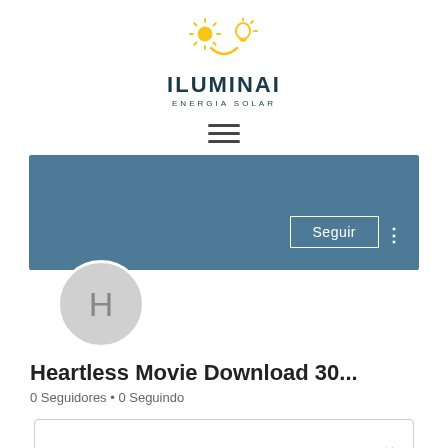[Figure (logo): ILUMINAI Energia Solar logo with sun and lightbulb icons in yellow and teal]
[Figure (other): Hamburger menu icon (three horizontal lines)]
[Figure (other): Teal profile banner with Seguir button and avatar circle with letter H]
Heartless Movie Download 30...
0 Seguidores • 0 Seguindo
[Figure (other): Collapsed bio/info box with chevron down arrow]